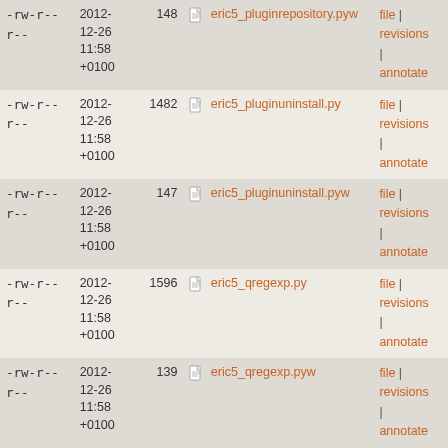| Permissions | Date | Size | File | Actions |
| --- | --- | --- | --- | --- |
| -rw-r--r-- | 2012-12-26 11:58 +0100 | 148 | eric5_pluginrepository.pyw | file | revisions | annotate |
| -rw-r--r-- | 2012-12-26 11:58 +0100 | 1482 | eric5_pluginuninstall.py | file | revisions | annotate |
| -rw-r--r-- | 2012-12-26 11:58 +0100 | 147 | eric5_pluginuninstall.pyw | file | revisions | annotate |
| -rw-r--r-- | 2012-12-26 11:58 +0100 | 1596 | eric5_qregexp.py | file | revisions | annotate |
| -rw-r--r-- | 2012-12-26 11:58 +0100 | 139 | eric5_qregexp.pyw | file | revisions | annotate |
| -rw-r--r-- | 2012-12-26 11:58 +0100 | 1594 | eric5_re.py | file | revisions | annotate |
| -rw-r--r-- | 2012-12-26 11:58 +0100 | 134 | eric5_re.pyw | file | revisions | annotate |